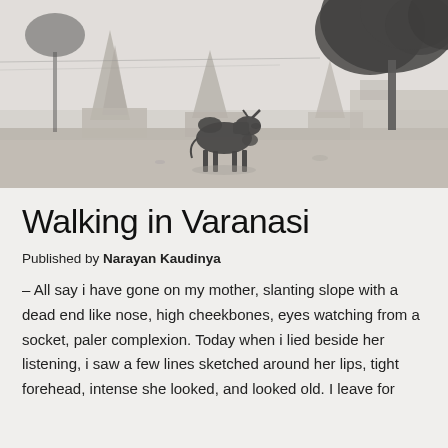[Figure (photo): Black and white photograph of a lone cow or bull standing on dry ground in front of Hindu temple spires and a large tree, misty atmosphere, Varanasi India]
Walking in Varanasi
Published by Narayan Kaudinya
– All say i have gone on my mother, slanting slope with a dead end like nose, high cheekbones, eyes watching from a socket, paler complexion. Today when i lied beside her listening, i saw a few lines sketched around her lips, tight forehead, intense she looked, and looked old. I leave for